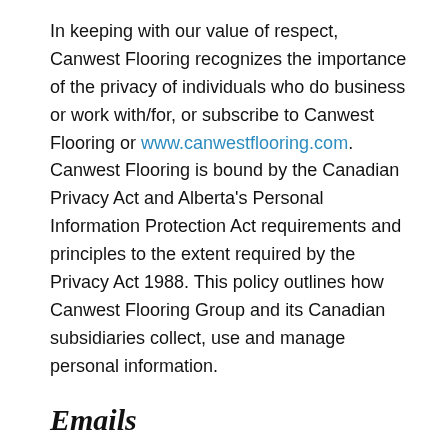In keeping with our value of respect, Canwest Flooring recognizes the importance of the privacy of individuals who do business or work with/for, or subscribe to Canwest Flooring or www.canwestflooring.com. Canwest Flooring is bound by the Canadian Privacy Act and Alberta's Personal Information Protection Act requirements and principles to the extent required by the Privacy Act 1988. This policy outlines how Canwest Flooring Group and its Canadian subsidiaries collect, use and manage personal information.
Emails
As a customer, employee, vendor of Canwest Flooring, we may, from time to time, forward promotional or education information to your email address. We follow Canada's Anti-Spam Legislation (enacted July 1, 2014), thus ensuring that emails forwarded to particular parties